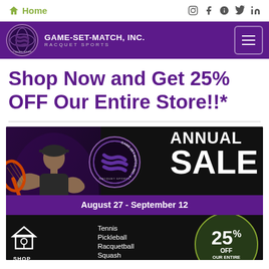Home | Social icons: Instagram, Facebook, Yelp, Twitter, LinkedIn
[Figure (logo): Game-Set-Match Inc. Racquet Sports logo and header bar with purple background and hamburger menu]
Shop Now and Get 25% OFF Our Entire Store!!*
[Figure (photo): Annual Sale promotional banner for Game-Set-Match Inc. Racquet Sports. Features a tennis player on the left, the company logo in the center, and text reading 'ANNUAL SALE' on the right. A purple bar shows 'August 27 - September 12'. Bottom section lists Tennis, Pickleball, Racquetball, Squash, a Shop Local icon, and a 25% OFF OUR ENTIRE circle badge.]